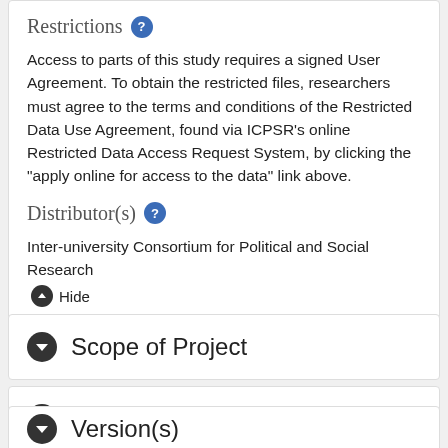Restrictions
Access to parts of this study requires a signed User Agreement. To obtain the restricted files, researchers must agree to the terms and conditions of the Restricted Data Use Agreement, found via ICPSR's online Restricted Data Access Request System, by clicking the "apply online for access to the data" link above.
Distributor(s)
Inter-university Consortium for Political and Social Research
Hide
Scope of Project
Methodology
Version(s)